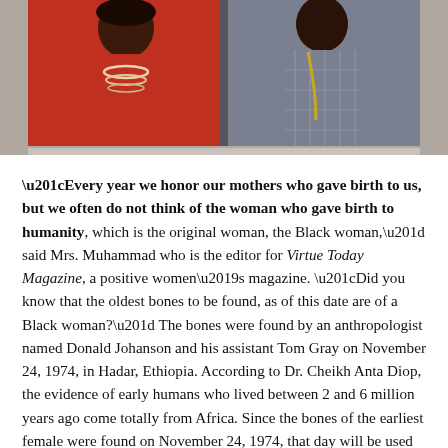[Figure (photo): Two people photographed together — a woman in red on the left wearing a beaded necklace, and a man in a plaid jacket on the right.]
“Every year we honor our mothers who gave birth to us, but we often do not think of the woman who gave birth to humanity, which is the original woman, the Black woman,” said Mrs. Muhammad who is the editor for Virtue Today Magazine, a positive women’s magazine. “Did you know that the oldest bones to be found, as of this date are of a Black woman?” The bones were found by an anthropologist named Donald Johanson and his assistant Tom Gray on November 24, 1974, in Hadar, Ethiopia. According to Dr. Cheikh Anta Diop, the evidence of early humans who lived between 2 and 6 million years ago come totally from Africa. Since the bones of the earliest female were found on November 24, 1974, that day will be used to celebrate Mothers of Civilization Day.
The new holiday was launched in the National Days Archives and the book describing the history behind the new holiday will be available later this month. The book shares the history behind